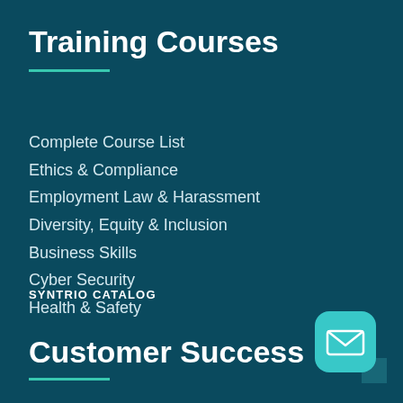Training Courses
Complete Course List
Ethics & Compliance
Employment Law & Harassment
Diversity, Equity & Inclusion
Business Skills
Cyber Security
Health & Safety
SYNTRIO CATALOG
Customer Success
[Figure (illustration): Teal rounded-square email icon button in bottom right corner]